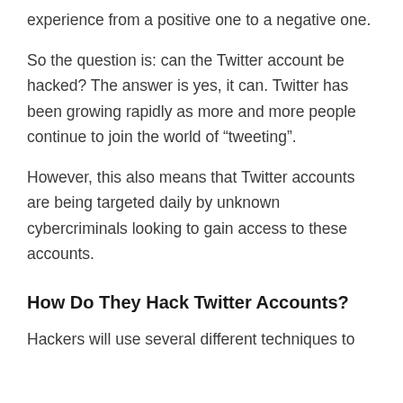experience from a positive one to a negative one.
So the question is: can the Twitter account be hacked? The answer is yes, it can. Twitter has been growing rapidly as more and more people continue to join the world of “tweeting”.
However, this also means that Twitter accounts are being targeted daily by unknown cybercriminals looking to gain access to these accounts.
How Do They Hack Twitter Accounts?
Hackers will use several different techniques to